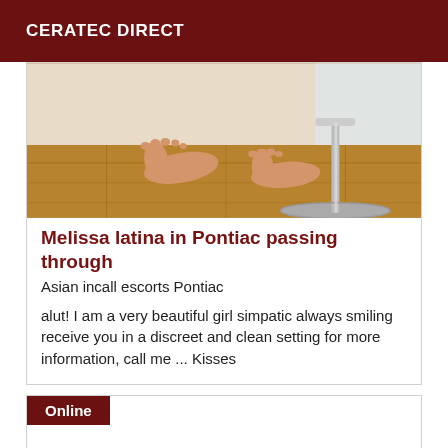CERATEC DIRECT
[Figure (photo): Close-up photo of bare feet on a wooden floor next to a chrome chair or stool base]
Melissa latina in Pontiac passing through
Asian incall escorts Pontiac
alut! I am a very beautiful girl simpatic always smiling receive you in a discreet and clean setting for more information, call me ... Kisses
Online